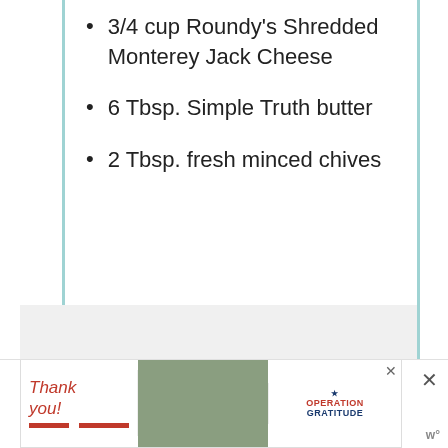3/4 cup Roundy's Shredded Monterey Jack Cheese
6 Tbsp. Simple Truth butter
2 Tbsp. fresh minced chives
[Figure (photo): Advertisement banner at bottom showing 'Thank you' handwritten text with American flag design and Operation Gratitude logo, with a close button and sidebar controls]